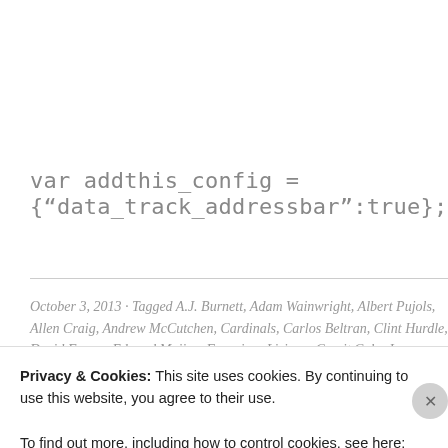var addthis_config = {"data_track_addressbar":true};
October 3, 2013 · Tagged A.J. Burnett, Adam Wainwright, Albert Pujols, Allen Craig, Andrew McCutchen, Cardinals, Carlos Beltran, Clint Hurdle, David Freese, Edward Mujica, Francisco Liriano, Gerrit Cole, Jason Motte,
Privacy & Cookies: This site uses cookies. By continuing to use this website, you agree to their use. To find out more, including how to control cookies, see here: Cookie Policy
Close and accept